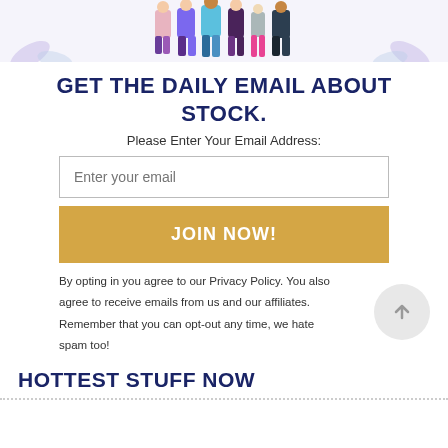[Figure (illustration): Colorful illustration of diverse people standing together with decorative leaves in the background]
GET THE DAILY EMAIL ABOUT STOCK.
Please Enter Your Email Address:
Enter your email
JOIN NOW!
By opting in you agree to our Privacy Policy. You also agree to receive emails from us and our affiliates. Remember that you can opt-out any time, we hate spam too!
HOTTEST STUFF NOW